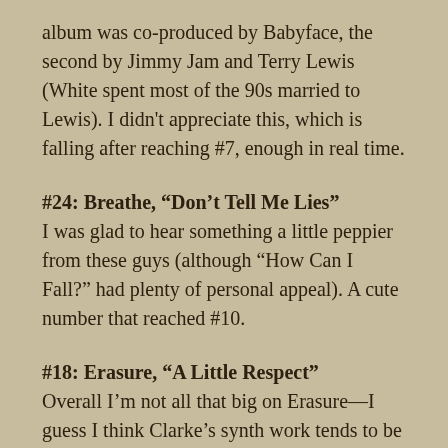album was co-produced by Babyface, the second by Jimmy Jam and Terry Lewis (White spent most of the 90s married to Lewis). I didn't appreciate this, which is falling after reaching #7, enough in real time.
#24: Breathe, “Don’t Tell Me Lies”
I was glad to hear something a little peppier from these guys (although “How Can I Fall?” had plenty of personal appeal). A cute number that reached #10.
#18: Erasure, “A Little Respect”
Overall I’m not all that big on Erasure—I guess I think Clarke’s synth work tends to be too much of a focus—but this is a fine tune. It would soon